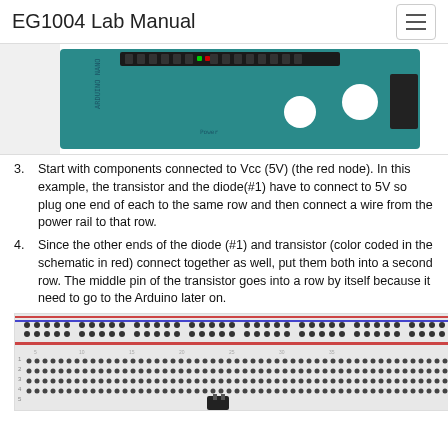EG1004 Lab Manual
[Figure (photo): Photo of an Arduino microcontroller board showing the top portion with pin headers and connectors, teal/blue PCB color]
3. Start with components connected to Vcc (5V) (the red node). In this example, the transistor and the diode(#1) have to connect to 5V so plug one end of each to the same row and then connect a wire from the power rail to that row.
4. Since the other ends of the diode (#1) and transistor (color coded in the schematic in red) connect together as well, put them both into a second row. The middle pin of the transistor goes into a row by itself because it need to go to the Arduino later on.
[Figure (photo): Photo of a white breadboard showing rows of holes with some components inserted, including what appears to be a transistor or similar component at the bottom center]